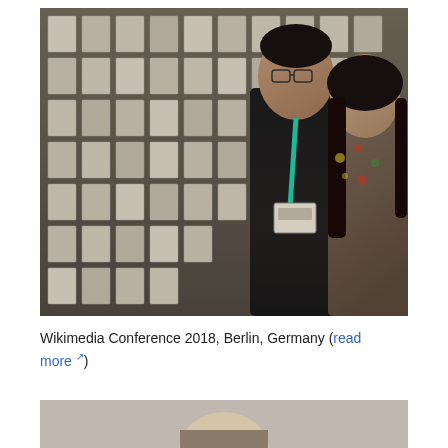[Figure (photo): Two people standing in front of a wall covered with many small name badges or photos at the Wikimedia Conference 2018 in Berlin, Germany. The man on the left wears a dark shirt with a teal lanyard and conference badge. The woman on the right has long dark hair and wears a patterned top.]
Wikimedia Conference 2018, Berlin, Germany (read more)
[Figure (photo): Partial view of another photo showing a person, cropped at bottom of page.]